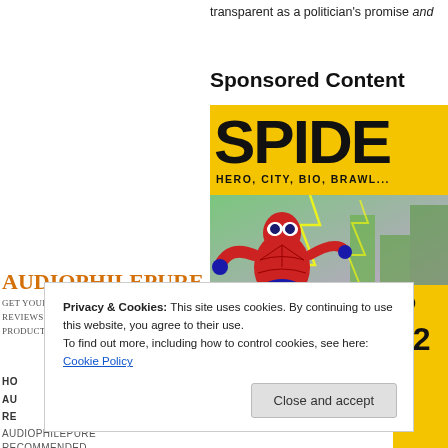transparent as a politician's promise and
Sponsored Content
[Figure (illustration): Spider-Man advertisement banner on yellow background with large text 'SPIDE' (partially visible), subtitle 'HERO, CITY, BIO, BRAWL' and Spider-Man character illustration]
Audiophilepure
Get your DAILY audiophile reviews & news for products,tracks,shows.
Privacy & Cookies: This site uses cookies. By continuing to use this website, you agree to their use.
To find out more, including how to control cookies, see here: Cookie Policy
Close and accept
HO
AU
RE
AUDIOPHILEPURE
RECOMMENDED